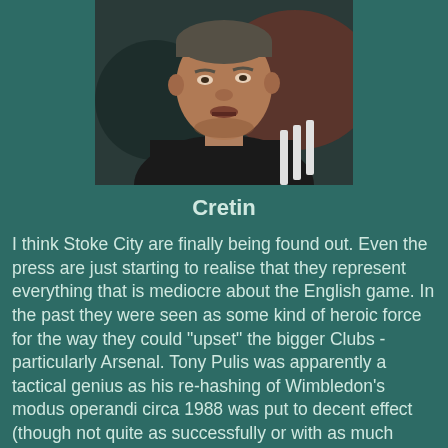[Figure (photo): Close-up photograph of a man in a dark jacket with white stripes, looking upward, against a blurred background]
Cretin
I think Stoke City are finally being found out. Even the press are just starting to realise that they represent everything that is mediocre about the English game. In the past they were seen as some kind of heroic force for the way they could "upset" the bigger Clubs - particularly Arsenal. Tony Pulis was apparently a tactical genius as his re-hashing of Wimbledon's modus operandi circa 1988 was put to decent effect (though not quite as successfully or with as much good humour as Wimbledon used to imbue). I get the feeling, however, that the tide is about to turn on Pulis. After all, if Stoke can't kick Arsenal off